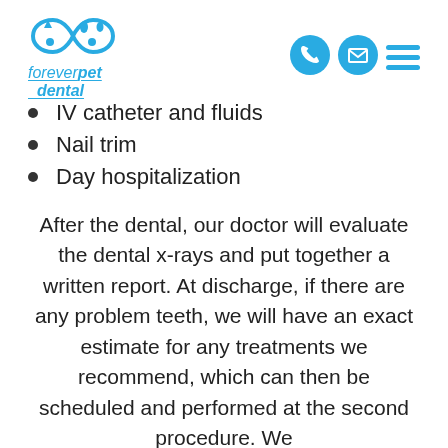[Figure (logo): Forever Pet Dental logo with infinity symbol containing pet silhouettes, teal/blue color]
IV catheter and fluids
Nail trim
Day hospitalization
After the dental, our doctor will evaluate the dental x-rays and put together a written report. At discharge, if there are any problem teeth, we will have an exact estimate for any treatments we recommend, which can then be scheduled and performed at the second procedure. We